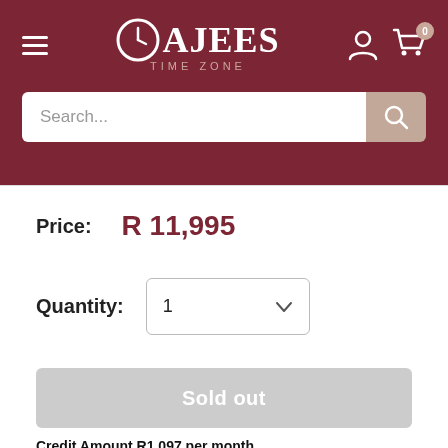[Figure (screenshot): Cajees Time Zone website header with logo, hamburger menu, user icon, cart icon with badge 0, and search bar]
Price:  R 11,995
Quantity:  1
Sold out
Credit Amount R1 097 per month
[Figure (logo): mobicred logo]